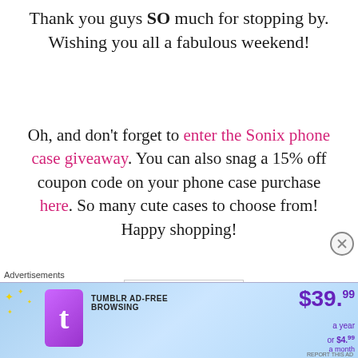Thank you guys SO much for stopping by. Wishing you all a fabulous weekend!
Oh, and don't forget to enter the Sonix phone case giveaway. You can also snag a 15% off coupon code on your phone case purchase here. So many cute cases to choose from! Happy shopping!
[Figure (illustration): Handwritten signature showing 'xX-' on top line and 'Ahhu' on bottom line in pink/magenta cursive ink on white background]
Advertisements
[Figure (other): Tumblr Ad-Free Browsing advertisement banner with Tumblr logo, price $39.99 a year or $4.99 a month, light blue gradient background]